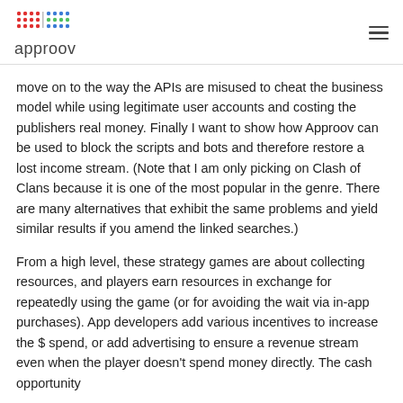approov
move on to the way the APIs are misused to cheat the business model while using legitimate user accounts and costing the publishers real money. Finally I want to show how Approov can be used to block the scripts and bots and therefore restore a lost income stream. (Note that I am only picking on Clash of Clans because it is one of the most popular in the genre. There are many alternatives that exhibit the same problems and yield similar results if you amend the linked searches.)
From a high level, these strategy games are about collecting resources, and players earn resources in exchange for repeatedly using the game (or for avoiding the wait via in-app purchases). App developers add various incentives to increase the $ spend, or add advertising to ensure a revenue stream even when the player doesn't spend money directly. The cash opportunity